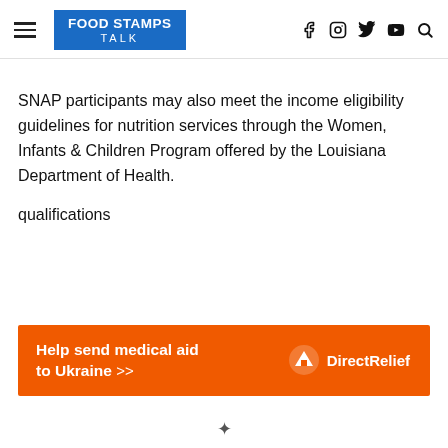FOOD STAMPS TALK
SNAP participants may also meet the income eligibility guidelines for nutrition services through the Women, Infants & Children Program offered by the Louisiana Department of Health.
qualifications
[Figure (infographic): Orange advertisement banner: 'Help send medical aid to Ukraine >>' with Direct Relief logo and wordmark on the right.]